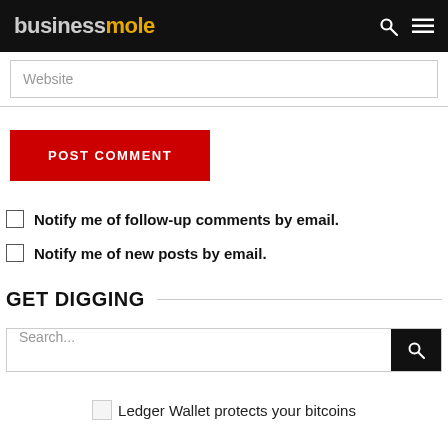businessmole
Website
POST COMMENT
Notify me of follow-up comments by email.
Notify me of new posts by email.
GET DIGGING
Search...
Ledger Wallet protects your bitcoins